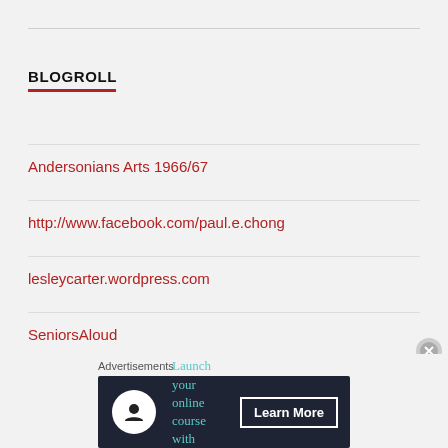BLOGROLL
Andersonians Arts 1966/67
http://www.facebook.com/paul.e.chong
lesleycarter.wordpress.com
SeniorsAloud
Advertisements
[Figure (screenshot): Dark advertisement banner: 'Launch your online course with WordPress' with Learn More button]